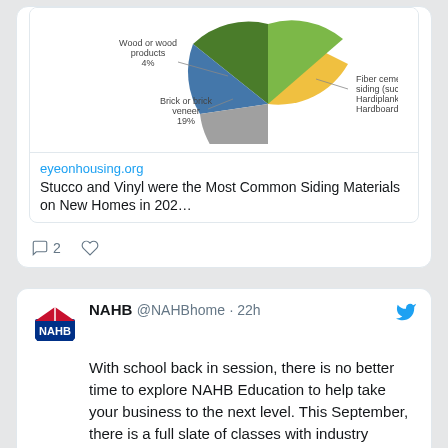[Figure (screenshot): Partial pie chart showing siding materials data with yellow, green slices visible. Labels include 'Wood or wood products 4%', 'Brick or brick veneer 19%', 'Fiber cement siding (such as Hardiplank or Hardboard)']
eyeonhousing.org
Stucco and Vinyl were the Most Common Siding Materials on New Homes in 202…
2
NAHB @NAHBhome · 22h
With school back in session, there is no better time to explore NAHB Education to help take your business to the next level. This September, there is a full slate of classes with industry experts who will teach you how to grow and protect your business. ow.ly/He3550KvLS7
[Figure (photo): Photo of a person at a laptop with overlay icons suggesting business/education theme, teal/blue color tones]